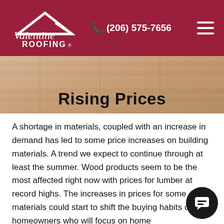Valentine Roofing | (206) 575-7656
[Figure (photo): Background image of lumber/building materials with warm beige-brown tones]
Rising Prices
A shortage in materials, coupled with an increase in demand has led to some price increases on building materials. A trend we expect to continue through at least the summer. Wood products seem to be the most affected right now with prices for lumber at record highs. The increases in prices for some materials could start to shift the buying habits of homeowners who will focus on home